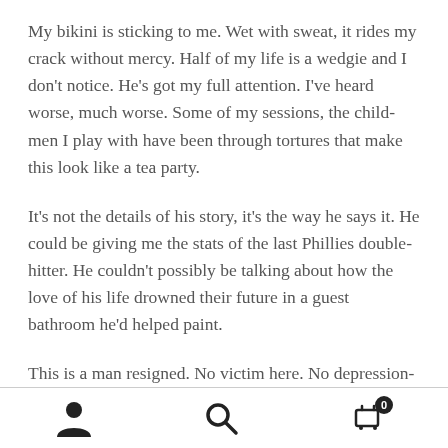My bikini is sticking to me. Wet with sweat, it rides my crack without mercy. Half of my life is a wedgie and I don't notice. He's got my full attention. I've heard worse, much worse. Some of my sessions, the child-men I play with have been through tortures that make this look like a tea party.
It's not the details of his story, it's the way he says it. He could be giving me the stats of the last Phillies double-hitter. He couldn't possibly be talking about how the love of his life drowned their future in a guest bathroom he'd helped paint.
This is a man resigned. No victim here. No depression-laden black circles under his eyes, no use taking responsibility for something that wasn't his to own. Just acceptance for what was and what is.
[navigation bar with person, search, and cart icons]